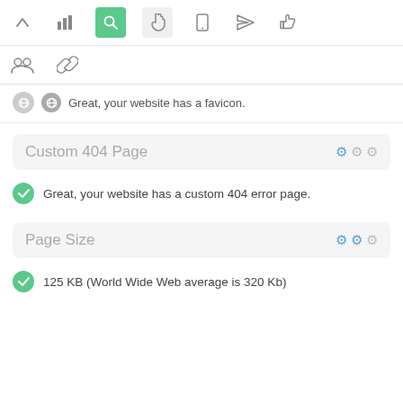[Figure (screenshot): Toolbar with icons: up arrow, bar chart, green search/magnifier (active), hand pointer (light background), mobile phone, paper plane, thumbs up]
[Figure (screenshot): Second toolbar row with two icons: group/people icon, chain/link icon]
Great, your website has a favicon.
Custom 404 Page
Great, your website has a custom 404 error page.
Page Size
125 KB (World Wide Web average is 320 Kb)